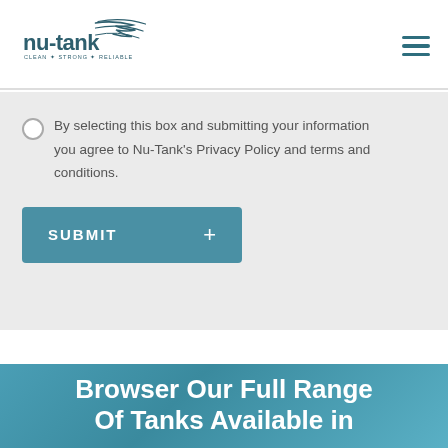[Figure (logo): Nu-Tank logo with swoosh graphic and tagline CLEAN + STRONG + RELIABLE]
By selecting this box and submitting your information you agree to Nu-Tank's Privacy Policy and terms and conditions.
SUBMIT +
Browser Our Full Range Of Tanks Available in